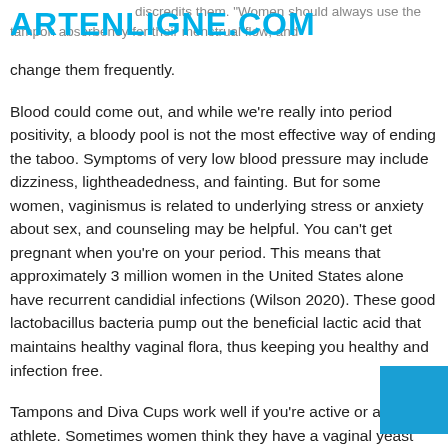ARTENLIGNE.COM — always use the tampon absorbency for their menstrual flow, and change them frequently.
Blood could come out, and while we're really into period positivity, a bloody pool is not the most effective way of ending the taboo. Symptoms of very low blood pressure may include dizziness, lightheadedness, and fainting. But for some women, vaginismus is related to underlying stress or anxiety about sex, and counseling may be helpful. You can't get pregnant when you're on your period. This means that approximately 3 million women in the United States alone have recurrent candidial infections (Wilson 2020). These good lactobacillus bacteria pump out the beneficial lactic acid that maintains healthy vaginal flora, thus keeping you healthy and infection free.
Tampons and Diva Cups work well if you're active or an athlete. Sometimes women think they have a vaginal yeast infection when symptoms are caused by a different condition, such as bacterial